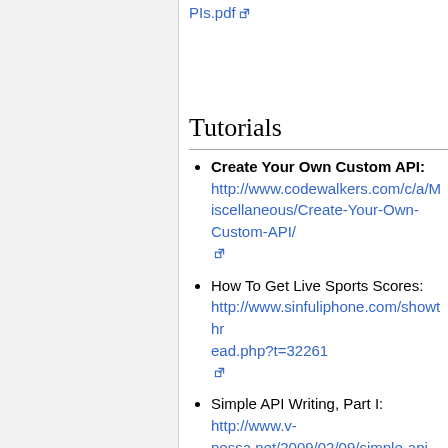PIs.pdf [external link]
Tutorials
Create Your Own Custom API: http://www.codewalkers.com/c/a/Miscellaneous/Create-Your-Own-Custom-API/
How To Get Live Sports Scores: http://www.sinfuliphone.com/showthread.php?t=32261
Simple API Writing, Part I: http://www.v-nessa.net/2009/02/09/simple-api-writing-part-i
How to write API documentation: http://docs.jquery.com/How_to_write_API_documentation
A Coder's Guide to Writing API